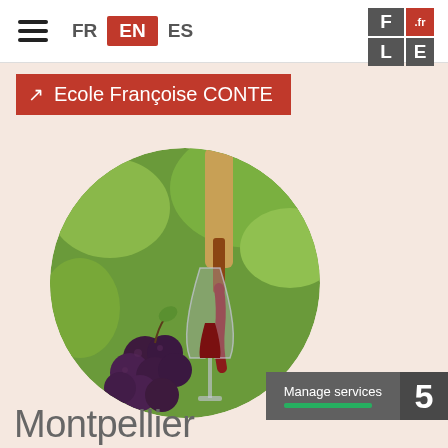FR EN ES
Ecole Françoise CONTE
[Figure (photo): Circular photo of red wine being poured into a wine glass, with a bunch of dark grapes in the foreground and green vineyard leaves in the background.]
Montpellier
Manage services 5